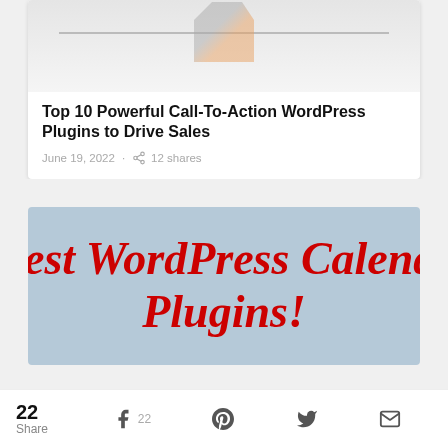[Figure (illustration): Partial article card with decorative image area at top showing abstract graphic elements]
Top 10 Powerful Call-To-Action WordPress Plugins to Drive Sales
June 19, 2022 · 12 shares
[Figure (illustration): Light blue banner image with large bold red italic text reading 'est WordPress Calend Plugins!']
22 Share 22 (Facebook) (Pinterest) (Twitter) (Email)